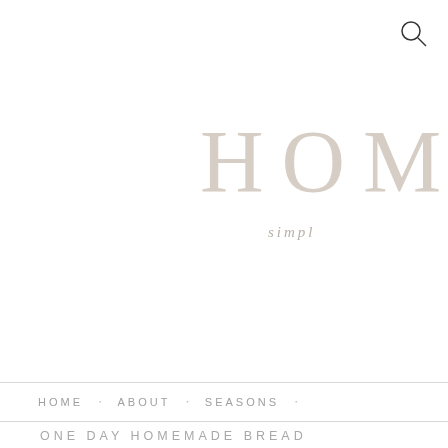[Figure (logo): Search icon (magnifying glass) in top right corner]
HOM
simpl
HOME • ABOUT • SEASONS •
ONE DAY HOMEMADE BREAD